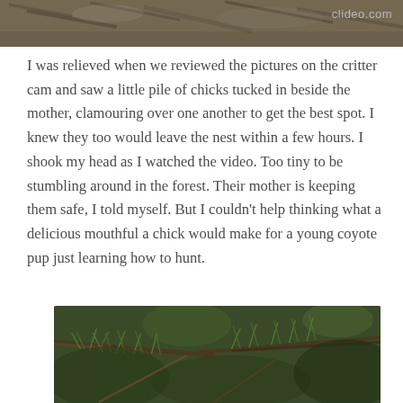[Figure (photo): Top portion of a nature/wildlife photo, showing blurred brownish forest floor or animal fur, with a clideo.com watermark in the upper right corner.]
I was relieved when we reviewed the pictures on the critter cam and saw a little pile of chicks tucked in beside the mother, clamouring over one another to get the best spot. I knew they too would leave the nest within a few hours. I shook my head as I watched the video. Too tiny to be stumbling around in the forest. Their mother is keeping them safe, I told myself. But I couldn't help thinking what a delicious mouthful a chick would make for a young coyote pup just learning how to hunt.
[Figure (photo): Bottom portion of a nature photo showing green pine branches and needles with brown twigs in a forest setting.]